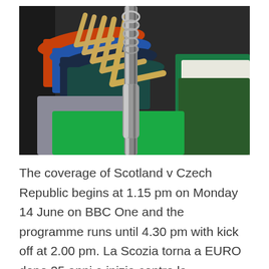[Figure (photo): Close-up photo of colorful t-shirts hanging on wooden clothes hangers on a rack. Colors include orange, blue, dark navy, teal, green, grey, and white, with a chrome central rail.]
The coverage of Scotland v Czech Republic begins at 1.15 pm on Monday 14 June on BBC One and the programme runs until 4.30 pm with kick off at 2.00 pm. La Scozia torna a EURO dopo 25 anni e inizia contro la Repubblica Ceca, che nello stesso periodo è sempre